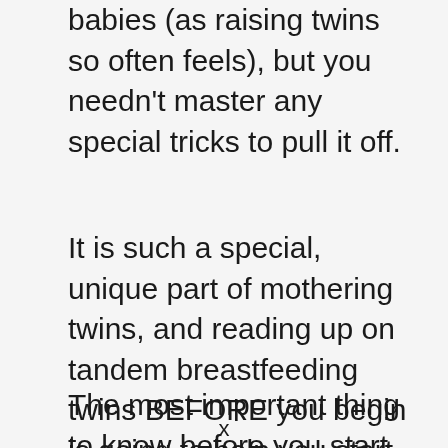babies (as raising twins so often feels), but you needn't master any special tricks to pull it off.
It is such a special, unique part of mothering twins, and reading up on tandem breastfeeding twins BEFORE you begin is going to help you start off on the right foot.
The most important thing to know before you start tandem breastfeeding is that...
x